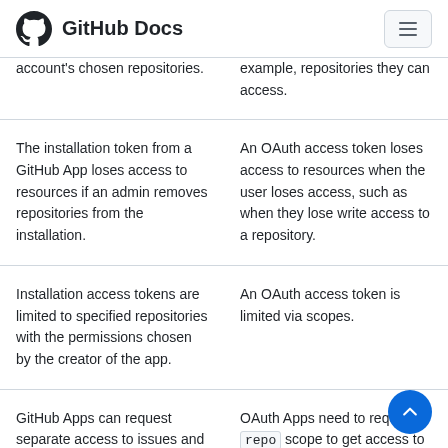GitHub Docs
| GitHub Apps | OAuth Apps |
| --- | --- |
| account's chosen repositories. | example, repositories they can access. |
| The installation token from a GitHub App loses access to resources if an admin removes repositories from the installation. | An OAuth access token loses access to resources when the user loses access, such as when they lose write access to a repository. |
| Installation access tokens are limited to specified repositories with the permissions chosen by the creator of the app. | An OAuth access token is limited via scopes. |
| GitHub Apps can request separate access to issues and pull requests without | OAuth Apps need to request repo scope to get access to issues, pull requests, or anything |